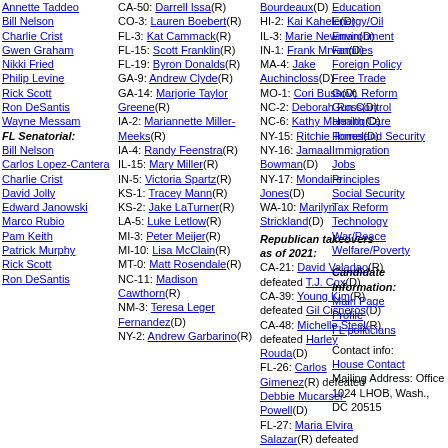Annette Taddeo
Bill Nelson
Charlie Crist
Gwen Graham
Nikki Fried
Philip Levine
Rick Scott
Ron DeSantis
Wayne Messam
FL Senatorial:
Bill Nelson
Carlos Lopez-Cantera
Charlie Crist
David Jolly
Edward Janowski
Marco Rubio
Pam Keith
Patrick Murphy
Rick Scott
Ron DeSantis
CA-50: Darrell Issa(R)
CO-3: Lauren Boebert(R)
FL-3: Kat Cammack(R)
FL-15: Scott Franklin(R)
FL-19: Byron Donalds(R)
GA-9: Andrew Clyde(R)
GA-14: Marjorie Taylor Greene(R)
IA-2: Mariannette Miller-Meeks(R)
IA-4: Randy Feenstra(R)
IL-15: Mary Miller(R)
IN-5: Victoria Spartz(R)
KS-1: Tracey Mann(R)
KS-2: Jake LaTurner(R)
LA-5: Luke Letlow(R)
MI-3: Peter Meijer(R)
MI-10: Lisa McClain(R)
MT-0: Matt Rosendale(R)
NC-11: Madison Cawthorn(R)
NM-3: Teresa Leger Fernandez(D)
NY-2: Andrew Garbarino(R)
LA-2: Troy Carter Bourdeaux(D)
HI-2: Kai Kahele(D)
IL-3: Marie Newman(D)
IN-1: Frank Mrvan(D)
MA-4: Jake Auchincloss(D)
MO-1: Cori Bush(D)
NC-2: Deborah Ross(D)
NC-6: Kathy Manning(D)
NY-15: Ritchie Torres(D)
NY-16: Jamaal Bowman(D)
NY-17: Mondaire Jones(D)
WA-10: Marilyn Strickland(D)
Republican takeovers as of 2021:
CA-21: David Valadao(R) defeated T.J. Cox(D)
CA-39: Young Kim(R) defeated Gil Cisneros(D)
CA-48: Michelle Steel(R) defeated Harley Rouda(D)
FL-26: Carlos Gimenez(R) defeated Debbie Mucarsel-Powell(D)
FL-27: Maria Elvira Salazar(R) defeated Donna Shalala(D)
IA-1: Ashley
Education
Energy/Oil
Environment
Families
Foreign Policy
Free Trade
Govt. Reform
Gun Control
Health Care
Homeland Security
Immigration
Jobs
Principles
Social Security
Tax Reform
Technology
War/Peace
Welfare/Poverty
Candidate Information:
Main Page
Profile
FL politicians
Contact info:
House Contact
Mailing Address: Office 1024 LHOB, Wash., DC 20515